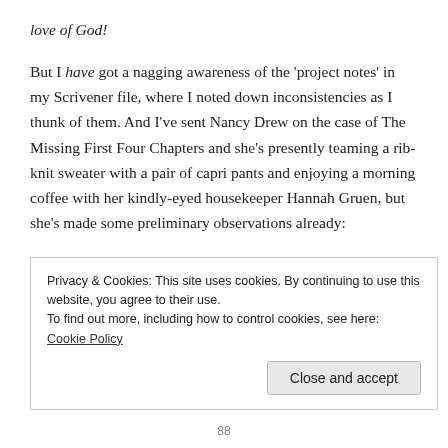love of God!
But I have got a nagging awareness of the 'project notes' in my Scrivener file, where I noted down inconsistencies as I thunk of them. And I've sent Nancy Drew on the case of The Missing First Four Chapters and she's presently teaming a rib-knit sweater with a pair of capri pants and enjoying a morning coffee with her kindly-eyed housekeeper Hannah Gruen, but she's made some preliminary observations already:
At 8:04 a.m. the chapters were seen to be…
Privacy & Cookies: This site uses cookies. By continuing to use this website, you agree to their use.
To find out more, including how to control cookies, see here: Cookie Policy
Close and accept